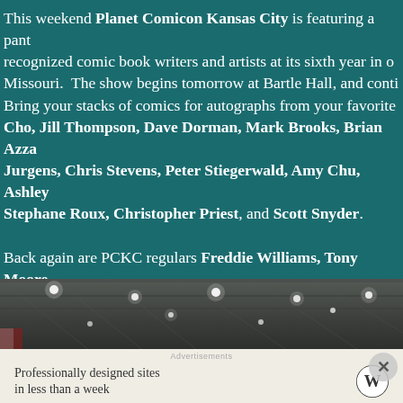This weekend Planet Comicon Kansas City is featuring a panel of recognized comic book writers and artists at its sixth year in Missouri. The show begins tomorrow at Bartle Hall, and conti… Bring your stacks of comics for autographs from your favorite Cho, Jill Thompson, Dave Dorman, Mark Brooks, Brian Azza… Jurgens, Chris Stevens, Peter Stiegerwald, Amy Chu, Ashley … Stephane Roux, Christopher Priest, and Scott Snyder. Back again are PCKC regulars Freddie Williams, Tony Moore, … Jai Nitz, Ande Parks, Ant Lucia, Skottie Young, Megan Leven… Horn, Seth Peck, Rob Davis, Darryl Woods, Jason Arnett, Bry… Timmins, C.W. Cooke, Damont Jordan, and Darren Neely.
[Figure (photo): Interior of a convention hall with ceiling lights visible]
Advertisements
Professionally designed sites in less than a week